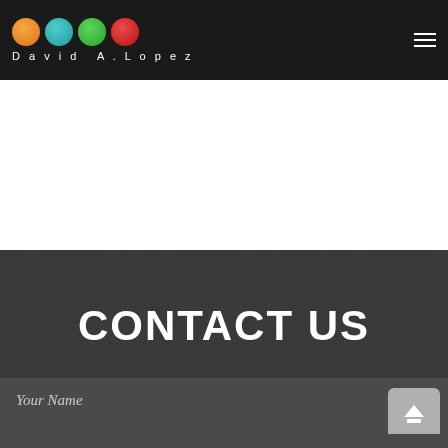David A. Lopez — navigation header with logo and menu icon
CONTACT US
Your Name
Your Email